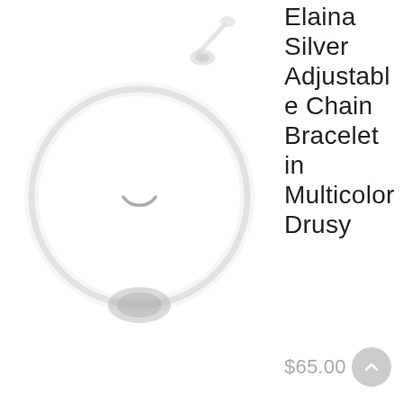[Figure (photo): A silver adjustable chain bracelet with a multicolor drusy stone pendant, shown on a white background. A loading spinner icon (partial circle) is visible in the center of the image.]
Elaina Silver Adjustable Chain Bracelet in Multicolor Drusy
$65.00